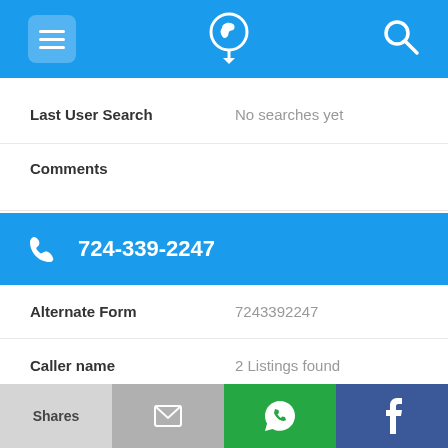[Figure (screenshot): Mobile app top navigation bar with hamburger menu icon, phone/location logo icon, and search icon on blue background]
Last User Search	No searches yet
Comments
724-339-2247
Alternate Form	7243392247
Caller name	2 Listings found
Last User Search	No searches yet
[Figure (screenshot): Bottom action bar with Shares, email, WhatsApp, and Facebook buttons]